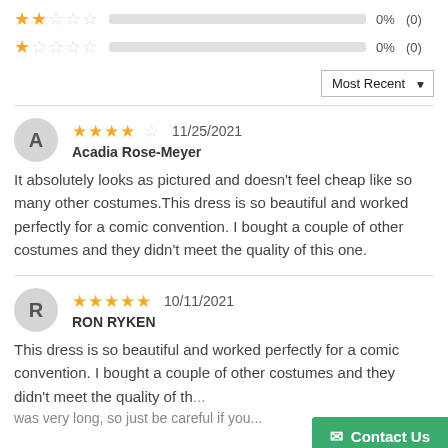2 stars 0% (0)
1 star 0% (0)
Sort: Most Recent
A - Acadia Rose-Meyer - 4.5 stars - 11/25/2021
It absolutely looks as pictured and doesn't feel cheap like so many other costumes.This dress is so beautiful and worked perfectly for a comic convention. I bought a couple of other costumes and they didn't meet the quality of this one.
R - RON RYKEN - 5 stars - 10/11/2021
This dress is so beautiful and worked perfectly for a comic convention. I bought a couple of other costumes and they didn't meet the quality of th... was very long, so just be careful if you...
Contact Us